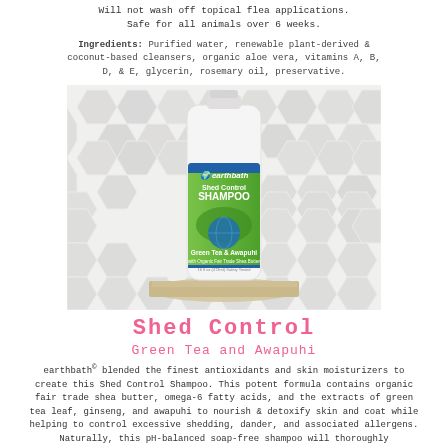Will not wash off topical flea applications.
Safe for all animals over 6 weeks.
Ingredients: Purified water, renewable plant-derived & coconut-based cleansers, organic aloe vera, vitamins A, B, D, & E, glycerin, rosemary oil, preservative.
[Figure (photo): Earthbath Shed Control Shampoo bottle with green label showing Green Tea & Awapuhi, placed on a wooden surface against a hexagonal tile background]
Shed Control
Green Tea and Awapuhi
earthbath© blended the finest antioxidants and skin moisturizers to create this Shed Control Shampoo. This potent formula contains organic fair trade shea butter, omega-6 fatty acids, and the extracts of green tea leaf, ginseng, and awapuhi to nourish & detoxify skin and coat while helping to control excessive shedding, dander, and associated allergens. Naturally, this pH-balanced soap-free shampoo will thoroughly